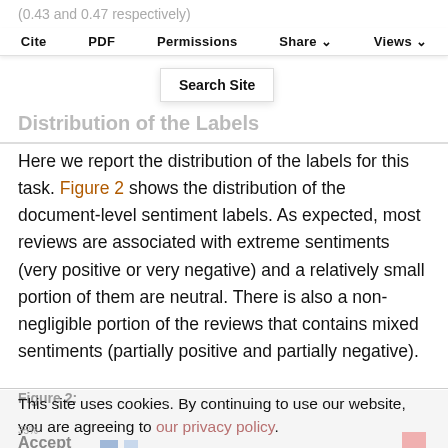(0.43 and 0.47 respectively)
Cite  PDF  Permissions  Share  Views
Search Site
Distribution of the Labels
Here we report the distribution of the labels for this task. Figure 2 shows the distribution of the document-level sentiment labels. As expected, most reviews are associated with extreme sentiments (very positive or very negative) and a relatively small portion of them are neutral. There is also a non-negligible portion of the reviews that contains mixed sentiments (partially positive and partially negative).
Figure 2:
This site uses cookies. By continuing to use our website, you are agreeing to our privacy policy. Accept